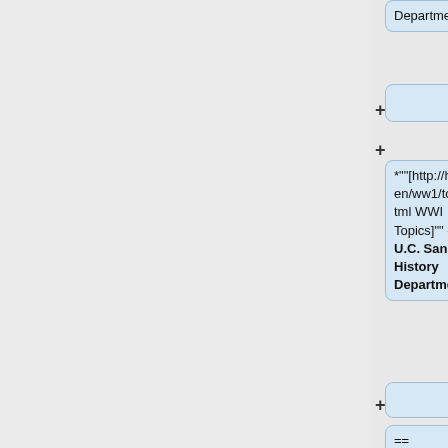Department.
+
*""[http://history.sandiego.edu/gen/ww1/topics.html WWI Topics]"" - from U.C. San Diego History Department.
+
== '''Genealogical Resources''' ==
+
*""[http://www.legion.org American
+